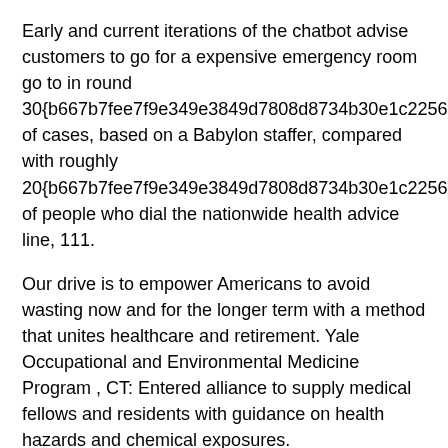Early and current iterations of the chatbot advise customers to go for a expensive emergency room go to in round 30{b667b7fee7f9e349e3849d7808d8734b30e1c2256b952c1054a03978c4d88e06} of cases, based on a Babylon staffer, compared with roughly 20{b667b7fee7f9e349e3849d7808d8734b30e1c2256b952c1054a03978c4d88e06} of people who dial the nationwide health advice line, 111.
Our drive is to empower Americans to avoid wasting now and for the longer term with a method that unites healthcare and retirement. Yale Occupational and Environmental Medicine Program , CT: Entered alliance to supply medical fellows and residents with guidance on health hazards and chemical exposures.
The Health Division actively makes use of performance data to enhance the health of Vermonters. For Babylon to satisfy its vision of making healthcare suppliers more efficient with